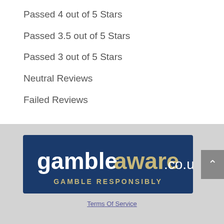Passed 4 out of 5 Stars
Passed 3.5 out of 5 Stars
Passed 3 out of 5 Stars
Neutral Reviews
Failed Reviews
[Figure (logo): GambleAware.co.uk - Gamble Responsibly logo on dark blue background]
Terms Of Service